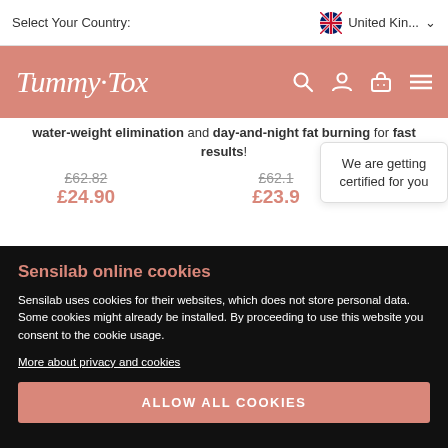Select Your Country: United Kin...
TummyTox
water-weight elimination and day-and-night fat burning for fast results!
£62.82
£24.90
£62.1...
£23.9...
We are getting certified for you
Sensilab online cookies
Sensilab uses cookies for their websites, which does not store personal data. Some cookies might already be installed. By proceeding to use this website you consent to the cookie usage.
More about privacy and cookies
ALLOW ALL COOKIES